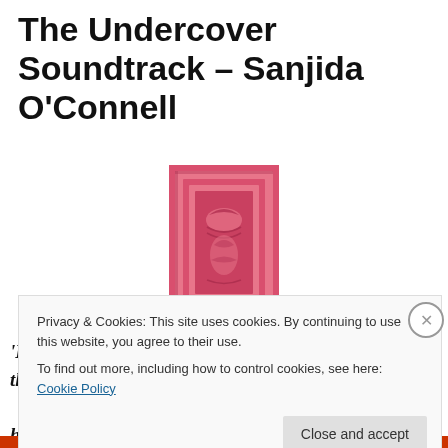The Undercover Soundtrack – Sanjida O'Connell
[Figure (illustration): Book cover image showing a pink/red ornate framed door or panel design]
'Blues took me to the swamps of the deep south, and the heart-rending misery Emily encounters'
Privacy & Cookies: This site uses cookies. By continuing to use this website, you agree to their use.
To find out more, including how to control cookies, see here: Cookie Policy
Close and accept